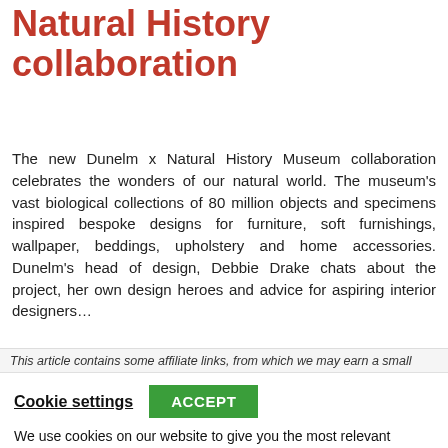Natural History collaboration
The new Dunelm x Natural History Museum collaboration celebrates the wonders of our natural world. The museum's vast biological collections of 80 million objects and specimens inspired bespoke designs for furniture, soft furnishings, wallpaper, beddings, upholstery and home accessories. Dunelm's head of design, Debbie Drake chats about the project, her own design heroes and advice for aspiring interior designers...
This article contains some affiliate links, from which we may earn a small
Cookie settings   ACCEPT
We use cookies on our website to give you the most relevant experience by remembering your preferences and repeat visits. By clicking "Accept", you consent to the use of ALL the cookies.